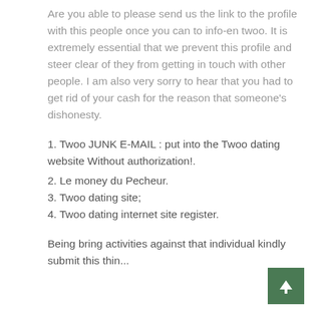Are you able to please send us the link to the profile with this people once you can to info-en twoo. It is extremely essential that we prevent this profile and steer clear of they from getting in touch with other people. I am also very sorry to hear that you had to get rid of your cash for the reason that someone's dishonesty.
1. Twoo JUNK E-MAIL : put into the Twoo dating website Without authorization!.
2. Le money du Pecheur.
3. Twoo dating site;
4. Twoo dating internet site register.
Being bring activities against that individual kindly submit this thing...